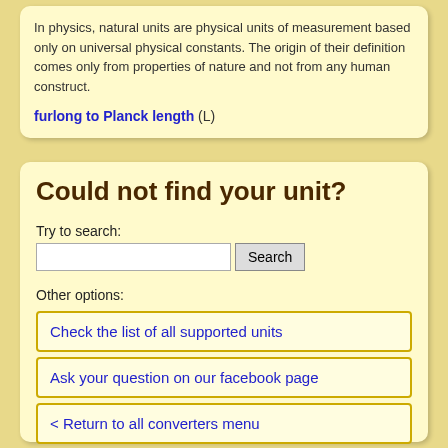In physics, natural units are physical units of measurement based only on universal physical constants. The origin of their definition comes only from properties of nature and not from any human construct.
furlong to Planck length (L)
Could not find your unit?
Try to search:
Other options:
Check the list of all supported units
Ask your question on our facebook page
< Return to all converters menu
Hope you have made all your conversions and enjoyed Convert-me.Com. Come visit us again soon!